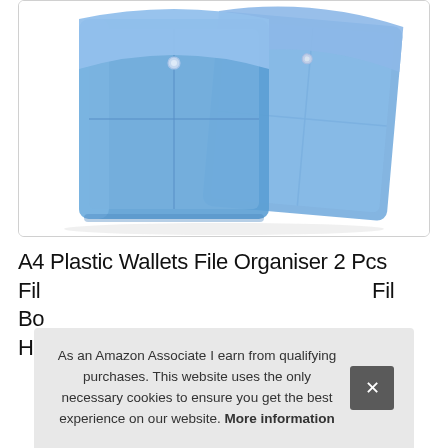[Figure (photo): Two blue transparent plastic A4 file organiser wallets with button snap closures, shown overlapping against a white background inside a rounded rectangle bordered container.]
A4 Plastic Wallets File Organiser 2 Pcs Fil... Bo... Ho...
As an Amazon Associate I earn from qualifying purchases. This website uses the only necessary cookies to ensure you get the best experience on our website. More information